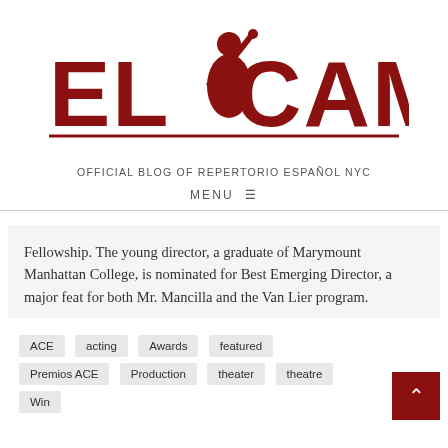[Figure (logo): El Camerino logo — red text 'EL CAMERINO' with a figure illustration and a horizontal red rule underneath]
OFFICIAL BLOG OF REPERTORIO ESPAÑOL NYC
MENU ☰
Fellowship. The young director, a graduate of Marymount Manhattan College, is nominated for Best Emerging Director, a major feat for both Mr. Mancilla and the Van Lier program.
ACE
acting
Awards
featured
Premios ACE
Production
theater
theatre
Win